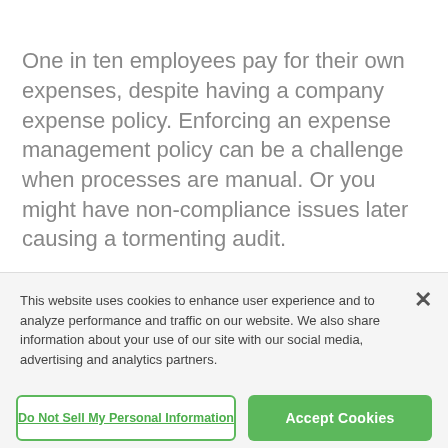One in ten employees pay for their own expenses, despite having a company expense policy. Enforcing an expense management policy can be a challenge when processes are manual. Or you might have non-compliance issues later causing a tormenting audit.
This website uses cookies to enhance user experience and to analyze performance and traffic on our website. We also share information about your use of our site with our social media, advertising and analytics partners.
Do Not Sell My Personal Information
Accept Cookies